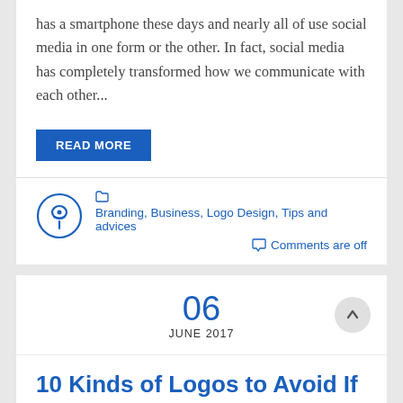has a smartphone these days and nearly all of use social media in one form or the other. In fact, social media has completely transformed how we communicate with each other...
READ MORE
Branding, Business, Logo Design, Tips and advices
Comments are off
06
JUNE 2017
10 Kinds of Logos to Avoid If You Love Your Brand